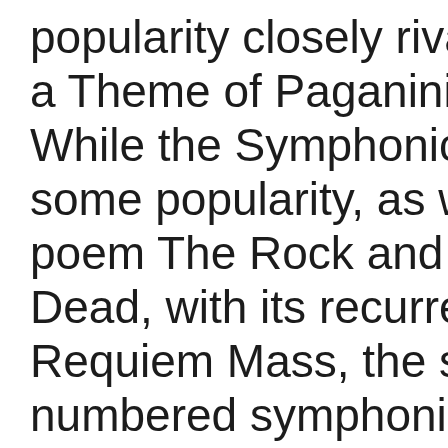popularity closely rivalled by the Rhapsody on a Theme of Paganini, for piano and orchestra. While the Symphonic Dances of 1940 have gained some popularity, as well as the symphonic poem The Rock and the dark-hued Isle of the Dead, with its recurrent motif from the Dies Irae of the Requiem Mass, the second of his numbered symphonies is still more
Piano Music
Rachmaninov's Prelude in C shar...